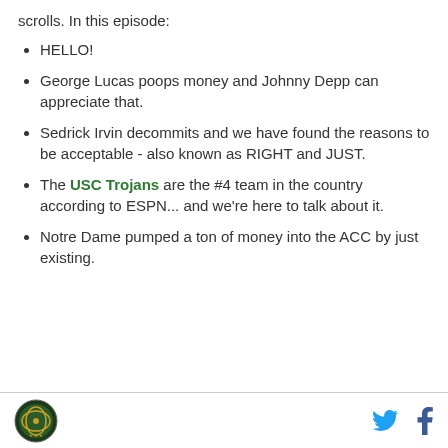scrolls. In this episode:
HELLO!
George Lucas poops money and Johnny Depp can appreciate that.
Sedrick Irvin decommits and we have found the reasons to be acceptable - also known as RIGHT and JUST.
The USC Trojans are the #4 team in the country according to ESPN... and we're here to talk about it.
Notre Dame pumped a ton of money into the ACC by just existing.
[logo] [twitter] [facebook]